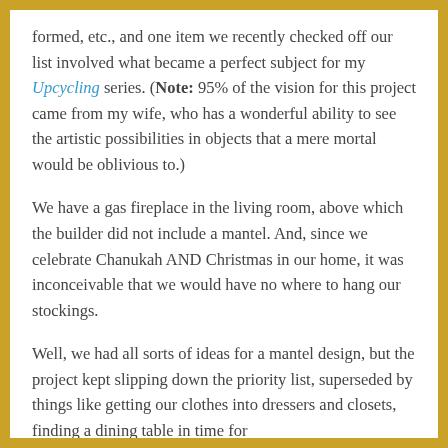formed, etc., and one item we recently checked off our list involved what became a perfect subject for my Upcycling series. (Note: 95% of the vision for this project came from my wife, who has a wonderful ability to see the artistic possibilities in objects that a mere mortal would be oblivious to.)
We have a gas fireplace in the living room, above which the builder did not include a mantel. And, since we celebrate Chanukah AND Christmas in our home, it was inconceivable that we would have no where to hang our stockings.
Well, we had all sorts of ideas for a mantel design, but the project kept slipping down the priority list, superseded by things like getting our clothes into dressers and closets, finding a dining table in time for